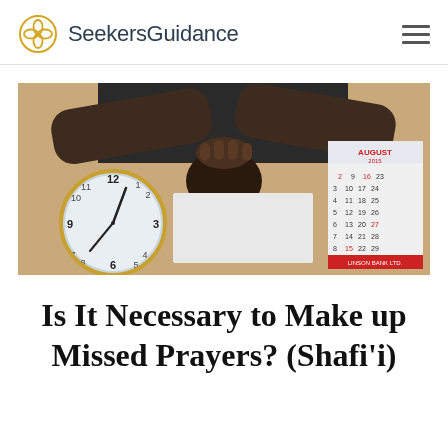SeekersGuidance
[Figure (photo): Overhead view of a person sitting at a desk with their head down resting on clasped hands, with an analog clock showing approximately 8:10 on the left and a calendar (August 2015) on the right.]
Is It Necessary to Make up Missed Prayers? (Shafi'i)